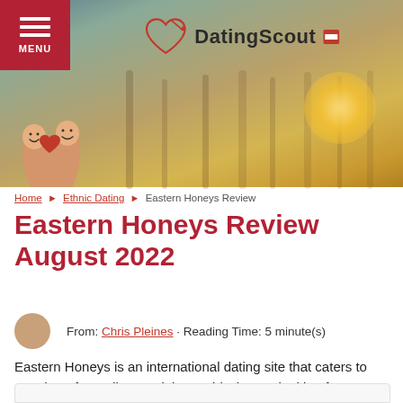MENU | DatingScout
[Figure (photo): Hero banner image showing two fingers with smiley faces drawn on them holding a red heart, set against a blurred sunset/golden hour outdoor background. DatingScout logo with heart icon visible in top center.]
Home › Ethnic Dating › Eastern Honeys Review
Eastern Honeys Review August 2022
From: Chris Pleines · Reading Time: 5 minute(s)
Eastern Honeys is an international dating site that caters to members from all around the world who are looking for a serious, long-lasting relationship.